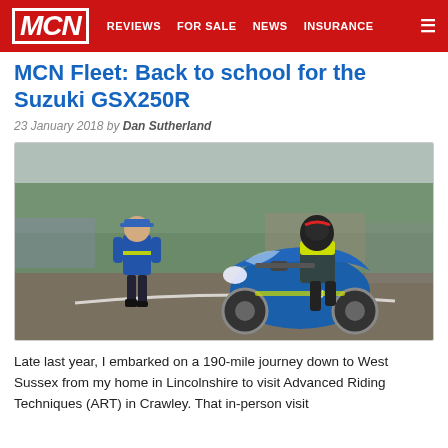MCN | REVIEWS | FOR SALE | NEWS | INSURANCE
MCN Fleet: Back to school for the Suzuki GSX250R
23 January 2018 by Dan Sutherland
[Figure (photo): A rider in a yellow high-visibility vest and full helmet sits on a blue Suzuki GSX250R motorcycle on a training ground surface, while an instructor in a blue high-visibility vest walks nearby. The background shows trees and industrial buildings.]
Late last year, I embarked on a 190-mile journey down to West Sussex from my home in Lincolnshire to visit Advanced Riding Techniques (ART) in Crawley. That in-person visit...